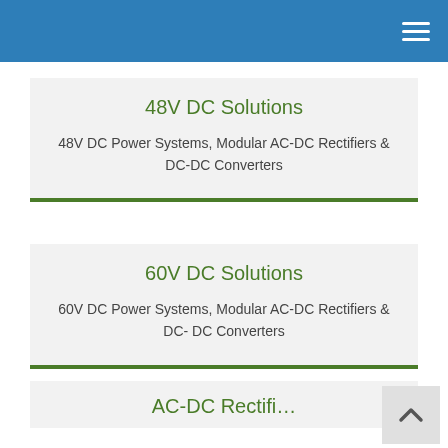48V DC Solutions
48V DC Power Systems, Modular AC-DC Rectifiers & DC-DC Converters
60V DC Solutions
60V DC Power Systems, Modular AC-DC Rectifiers & DC- DC Converters
AC-DC Rectifi…